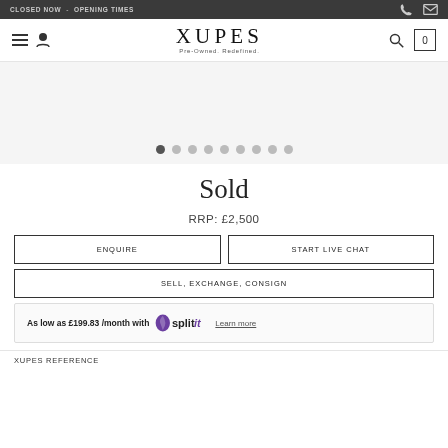CLOSED NOW  -  OPENING TIMES
[Figure (logo): XUPES logo with tagline Pre-Owned. Redefined.]
[Figure (other): Image carousel with 9 dots, first dot active]
Sold
RRP: £2,500
ENQUIRE
START LIVE CHAT
SELL, EXCHANGE, CONSIGN
As low as £199.83 /month with splitit Learn more
XUPES REFERENCE